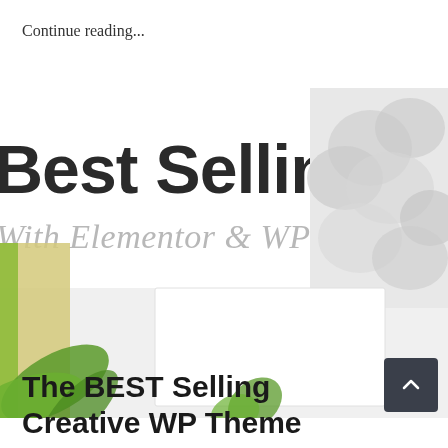Continue reading...
[Figure (screenshot): Screenshot of a WordPress theme website showing 'Best Selling Creative WP The' (title cut off) in large bold text, with italic subtitle 'With Elementor & WPBakery', decorative elements including yellow/green plant on bottom-left, grey fabric/flowers on top-right, and a white framed box in the center-bottom area.]
The BEST Selling Creative WP Theme